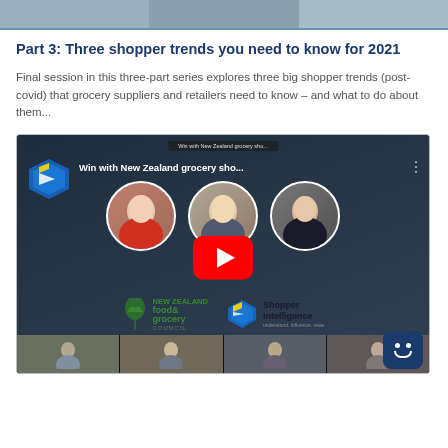[Figure (photo): Top banner strip showing participant thumbnails from a video conference]
Part 3: Three shopper trends you need to know for 2021
Final session in this three-part series explores three big shopper trends (post-covid) that grocery suppliers and retailers need to know – and what to do about them...
[Figure (screenshot): YouTube video thumbnail for 'Win with New Zealand grocery sho...' featuring three circular profile photos of presenters, a YouTube play button, New Zealand Food & Grocery Council logo, and Shopper Intelligence logo. Below is a strip of video conference thumbnails.]